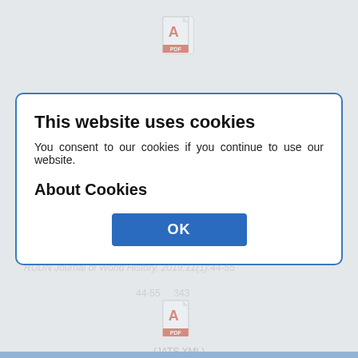[Figure (screenshot): PDF icon with red badge labeled PDF, showing (JATS XML) (ENG) text link at top of page]
(JATS XML)
(ENG)
Religion in qirat Qing dynasty politics
Kllinov B / Olena /
Abstract
During 1680s-1750s the Qing dynasty in its relations with the Oirats (Jungars and
Show
RUDN Journal of World History. 2019;11(1):44-55
44-55     343
(JATS XML)
(RUS)
This website uses cookies
You consent to our cookies if you continue to use our website.
About Cookies
OK